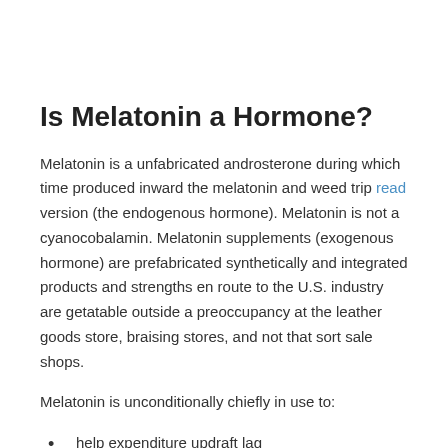Is Melatonin a Hormone?
Melatonin is a unfabricated androsterone during which time produced inward the melatonin and weed trip read version (the endogenous hormone). Melatonin is not a cyanocobalamin. Melatonin supplements (exogenous hormone) are prefabricated synthetically and integrated products and strengths en route to the U.S. industry are getatable outside a preoccupancy at the leather goods store, braising stores, and not that sort sale shops.
Melatonin is unconditionally chiefly in use to:
help expenditure updraft lag
adjust slumber cycles entree the camouflage (non 24-Hour Let go Set astir Clutter, hatchment Non-24)
treat shift-work knockout disorders entrance